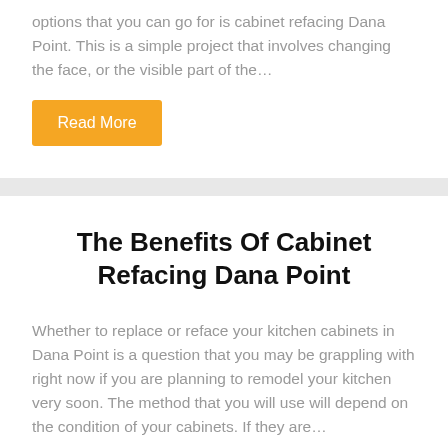options that you can go for is cabinet refacing Dana Point. This is a simple project that involves changing the face, or the visible part of the…
Read More
The Benefits Of Cabinet Refacing Dana Point
Whether to replace or reface your kitchen cabinets in Dana Point is a question that you may be grappling with right now if you are planning to remodel your kitchen very soon. The method that you will use will depend on the condition of your cabinets. If they are…
Read More